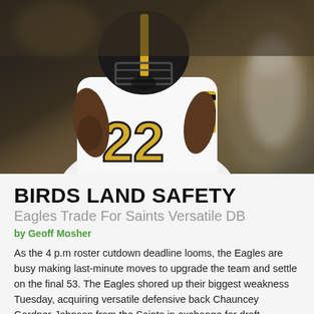[Figure (photo): NFL player wearing New Orleans Saints #22 white jersey with gold numbers, helmet on, celebrating or reacting on field]
BIRDS LAND SAFETY
Eagles Trade For Saints Versatile DB
by Geoff Mosher
As the 4 p.m roster cutdown deadline looms, the Eagles are busy making last-minute moves to upgrade the team and settle on the final 53. The Eagles shored up their biggest weakness Tuesday, acquiring versatile defensive back Chauncey Gardner-Johnson from the Saints in exchange for draft compensation.